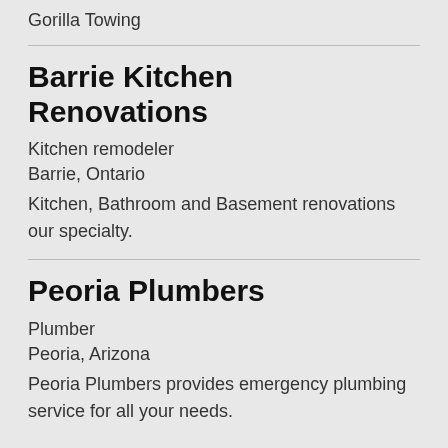Gorilla Towing
Barrie Kitchen Renovations
Kitchen remodeler
Barrie, Ontario
Kitchen, Bathroom and Basement renovations our specialty.
Peoria Plumbers
Plumber
Peoria, Arizona
Peoria Plumbers provides emergency plumbing service for all your needs.